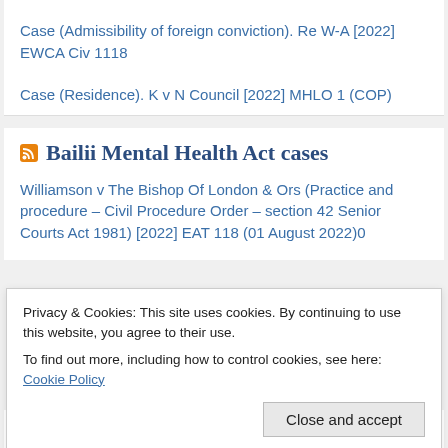Case (Admissibility of foreign conviction). Re W-A [2022] EWCA Civ 1118
Case (Residence). K v N Council [2022] MHLO 1 (COP)
Bailii Mental Health Act cases
Williamson v The Bishop Of London & Ors (Practice and procedure - Civil Procedure Order - section 42 Senior Courts Act 1981) [2022] EAT 118 (01 August 2022)0
Privacy & Cookies: This site uses cookies. By continuing to use this website, you agree to their use.
To find out more, including how to control cookies, see here: Cookie Policy
Barnsley Metropolitan Borough Council v VW & Ors